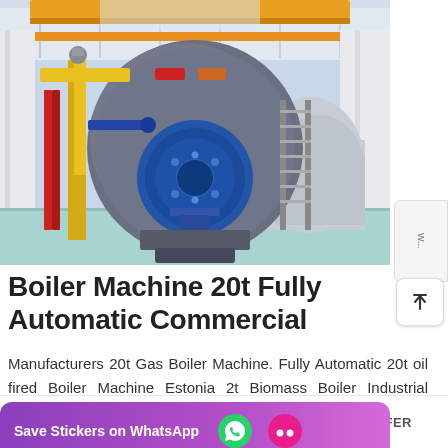[Figure (photo): Industrial boiler machine in a large facility. A large cylindrical grey boiler with blue burner assembly in the center, yellow gas pipes on the left, red pipes, metal staircases, and white structural columns. The facility has a teal-painted floor and orange overhead crane beam.]
Boiler Machine 20t Fully Automatic Commercial
Manufacturers 20t Gas Boiler Machine. Fully Automatic 20t oil fired Boiler Machine Estonia 2t Biomass Boiler Industrial Latvia. Commercial For Malaysia -Boiler 2 sets 20ton ga…